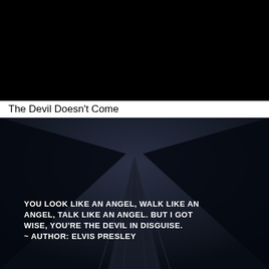[Figure (photo): Black rectangular image at the top of the page, completely dark/black background.]
The Devil Doesn't Come
[Figure (photo): Dark atmospheric photo showing what appears to be roads or lines converging to a point against a dark stormy sky. Overlaid with white bold uppercase text quoting Elvis Presley: YOU LOOK LIKE AN ANGEL, WALK LIKE AN ANGEL, TALK LIKE AN ANGEL. BUT I GOT WISE, YOU'RE THE DEVIL IN DISGUISE. ~ AUTHOR: ELVIS PRESLEY]